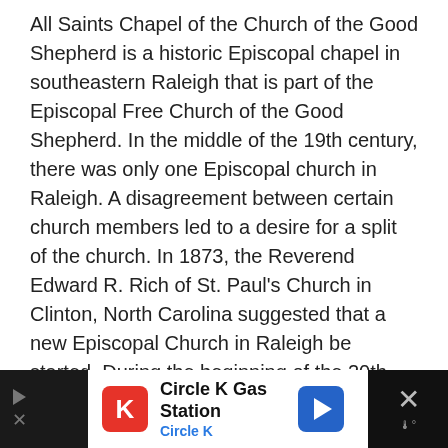All Saints Chapel of the Church of the Good Shepherd is a historic Episcopal chapel in southeastern Raleigh that is part of the Episcopal Free Church of the Good Shepherd. In the middle of the 19th century, there was only one Episcopal church in Raleigh. A disagreement between certain church members led to a desire for a split of the church. In 1873, the Reverend Edward R. Rich of St. Paul's Church in Clinton, North Carolina suggested that a new Episcopal Church in Raleigh be started. During the beginning of the 20th century the chapel moved from its original location to Morgan Street. In 2006, the church was moved again. The church is currently located right outside Historic Oakwood.
Image Courtesy of Flickr and Grace to You.
Sight description based on Wikipedia:
[Figure (other): Advertisement banner for Circle K Gas Station at bottom of page, dark background with white ad panel showing Circle K logo, name, and navigation arrow icon]